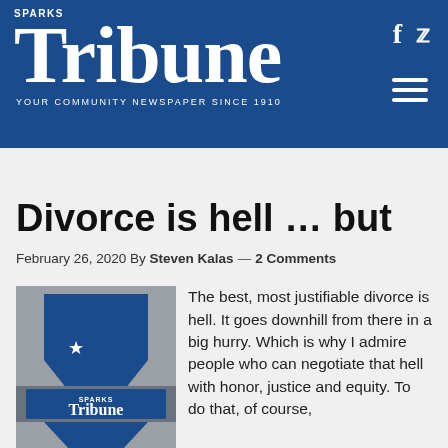SPARKS Tribune — YOUR COMMUNITY NEWSPAPER SINCE 1910
[Figure (photo): City skyline photo strip at dusk/night with warm orange and blue tones]
Divorce is hell … but
February 26, 2020 By Steven Kalas — 2 Comments
[Figure (logo): Sparks Tribune logo on Nevada state outline graphic — blue state shape with star, Tribune logo in center, gray background]
The best, most justifiable divorce is hell. It goes downhill from there in a big hurry. Which is why I admire people who can negotiate that hell with honor, justice and equity. To do that, of course, requires one thing above all else: We cannot allow our